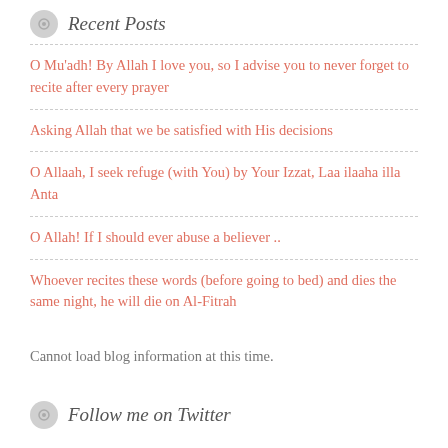Recent Posts
O Mu'adh! By Allah I love you, so I advise you to never forget to recite after every prayer
Asking Allah that we be satisfied with His decisions
O Allaah, I seek refuge (with You) by Your Izzat, Laa ilaaha illa Anta
O Allah! If I should ever abuse a believer ..
Whoever recites these words (before going to bed) and dies the same night, he will die on Al-Fitrah
Cannot load blog information at this time.
Follow me on Twitter